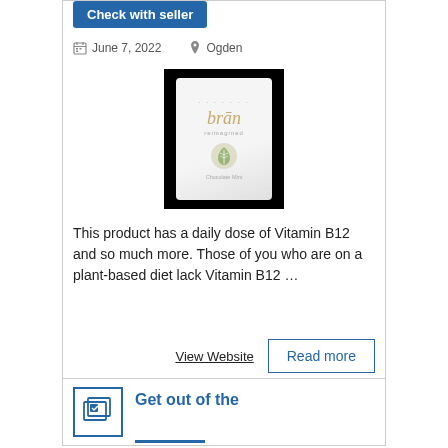Check with seller
June 7, 2022   Ogden
[Figure (photo): Product image of 'brān' supplement packet on black background, white packet with gold text and leaf logo]
This product has a daily dose of Vitamin B12 and so much more. Those of you who are on a plant-based diet lack Vitamin B12 …
View Website
Read more
Get out of the